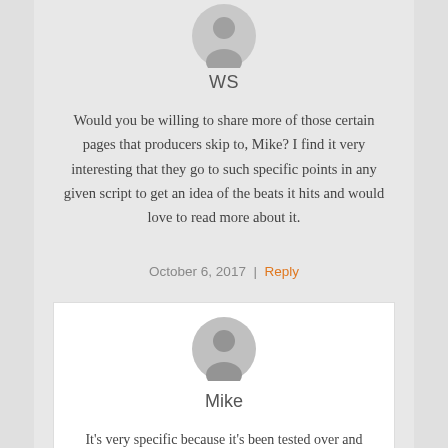[Figure (illustration): Circular grey avatar/profile icon for user WS]
WS
Would you be willing to share more of those certain pages that producers skip to, Mike? I find it very interesting that they go to such specific points in any given script to get an idea of the beats it hits and would love to read more about it.
October 6, 2017  |  Reply
[Figure (illustration): Circular grey avatar/profile icon for user Mike]
Mike
It's very specific because it's been tested over and over and over again and the vast